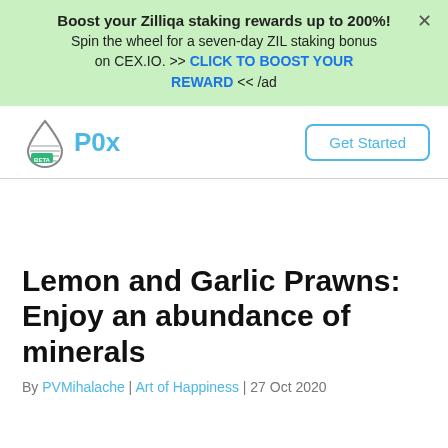[Figure (infographic): Green advertisement banner: 'Boost your Zilliqa staking rewards up to 200%! Spin the wheel for a seven-day ZIL staking bonus on CEX.IO. >> CLICK TO BOOST YOUR REWARD << /ad' with an X close button.]
[Figure (logo): P0x logo with a water droplet icon labeled BETA and stylized blue text 'P0x', with a 'Get Started' button on the right.]
Lemon and Garlic Prawns: Enjoy an abundance of minerals
By PVMihalache | Art of Happiness | 27 Oct 2020